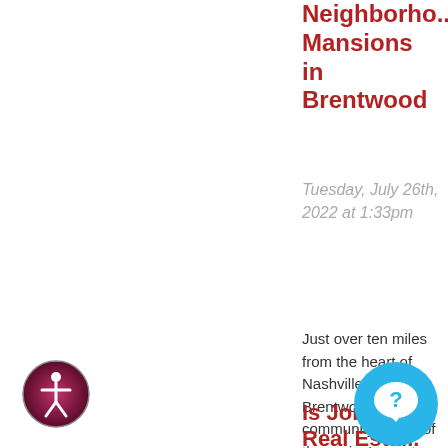Neighborho... Mansions in Brentwood
Tuesday, July 26th, 2022 at 1:33pm
Just over ten miles from the heart of Nashville, the Brentwood community is one of the region's most popular, vibrant, and fast-... READ MORE
Is Joi... Real Esta...
[Figure (logo): Accessibility icon - circular logo with person figure in white on dark red/purple gradient background]
[Figure (logo): Chat/messaging icon - circular blue button with speech bubble and question mark]